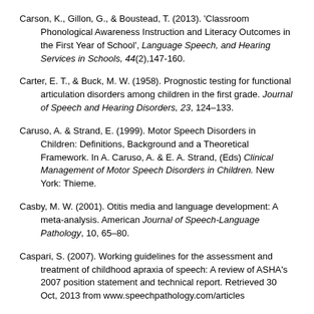Carson, K., Gillon, G., & Boustead, T. (2013). 'Classroom Phonological Awareness Instruction and Literacy Outcomes in the First Year of School', Language Speech, and Hearing Services in Schools, 44(2),147-160.
Carter, E. T., & Buck, M. W. (1958). Prognostic testing for functional articulation disorders among children in the first grade. Journal of Speech and Hearing Disorders, 23, 124–133.
Caruso, A. & Strand, E. (1999). Motor Speech Disorders in Children: Definitions, Background and a Theoretical Framework. In A. Caruso, A. & E. A. Strand, (Eds) Clinical Management of Motor Speech Disorders in Children. New York: Thieme.
Casby, M. W. (2001). Otitis media and language development: A meta-analysis. American Journal of Speech-Language Pathology, 10, 65–80.
Caspari, S. (2007). Working guidelines for the assessment and treatment of childhood apraxia of speech: A review of ASHA's 2007 position statement and technical report. Retrieved 30 Oct, 2013 from www.speechpathology.com/articles
Castles, A. & Macarthur, G. (2102). Brain training – or learning as we like to call it. Retrieved 1 April, 2013 from http://theconversation.com/brain-